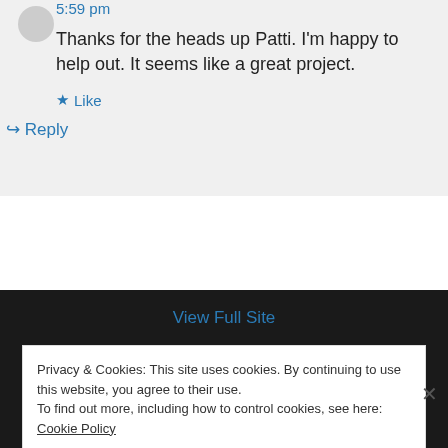5:59 pm
Thanks for the heads up Patti. I'm happy to help out. It seems like a great project.
★ Like
↪ Reply
View Full Site
Privacy & Cookies: This site uses cookies. By continuing to use this website, you agree to their use.
To find out more, including how to control cookies, see here: Cookie Policy
Close and accept